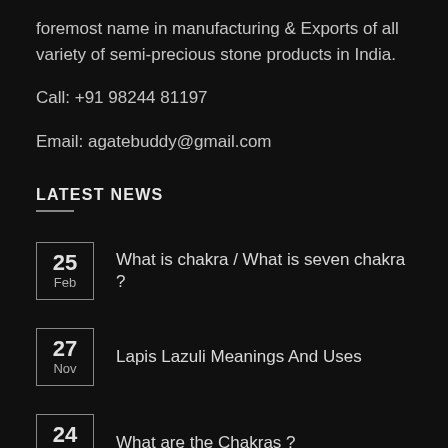foremost name in manufacturing & Exports of all variety of semi-precious stone products in India.
Call: +91 98244 81197
Email: agatebuddy@gmail.com
LATEST NEWS
25 Feb — What is chakra / What is seven chakra ?
27 Nov — Lapis Lazuli Meanings And Uses
24 Nov — What are the Chakras ?
24 Nov — Labradorite Stone Healing properties & Use